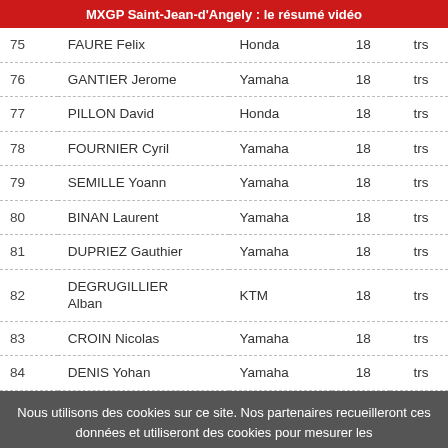MXGP Saint-Jean-d'Angely : le résumé vidéo
| # | Name | Brand | Laps | Result |
| --- | --- | --- | --- | --- |
| 75 | FAURE Felix | Honda | 18 | trs |
| 76 | GANTIER Jerome | Yamaha | 18 | trs |
| 77 | PILLON David | Honda | 18 | trs |
| 78 | FOURNIER Cyril | Yamaha | 18 | trs |
| 79 | SEMILLE Yoann | Yamaha | 18 | trs |
| 80 | BINAN Laurent | Yamaha | 18 | trs |
| 81 | DUPRIEZ Gauthier | Yamaha | 18 | trs |
| 82 | DEGRUGILLIER Alban | KTM | 18 | trs |
| 83 | CROIN Nicolas | Yamaha | 18 | trs |
| 84 | DENIS Yohan | Yamaha | 18 | trs |
Nous utilisons des cookies sur ce site. Nos partenaires recueilleront ces données et utiliseront des cookies pour mesurer les